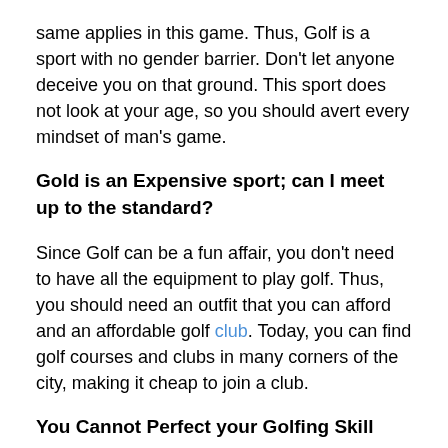same applies in this game. Thus, Golf is a sport with no gender barrier. Don't let anyone deceive you on that ground. This sport does not look at your age, so you should avert every mindset of man's game.
Gold is an Expensive sport; can I meet up to the standard?
Since Golf can be a fun affair, you don't need to have all the equipment to play golf. Thus, you should need an outfit that you can afford and an affordable golf club. Today, you can find golf courses and clubs in many corners of the city, making it cheap to join a club.
You Cannot Perfect your Golfing Skill
Time without numbers, it has been said that you cannot